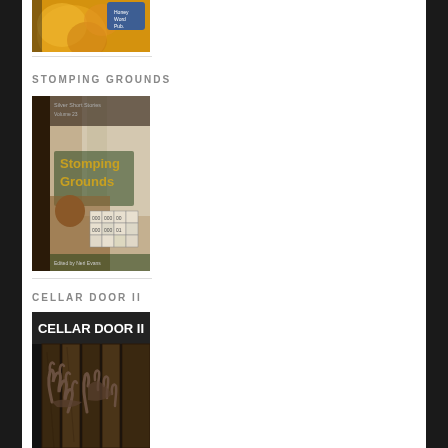[Figure (photo): Book cover - golden decorative illustration with small text badge, partially visible at top of page]
STOMPING GROUNDS
[Figure (photo): Book cover for 'Stomping Grounds' showing a child with building blocks, green title text, with series header text at top]
CELLAR DOOR II
[Figure (photo): Book cover for 'Cellar Door II' showing grasping claw-like hands on a dark background with white title text]